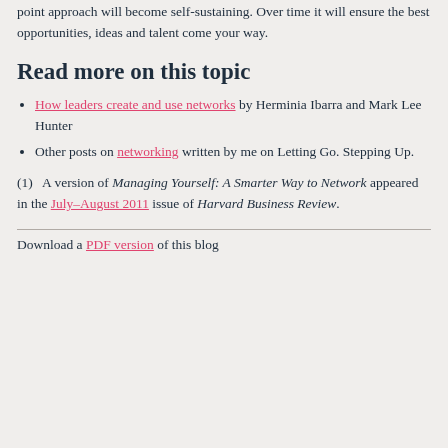point approach will become self-sustaining. Over time it will ensure the best opportunities, ideas and talent come your way.
Read more on this topic
How leaders create and use networks by Herminia Ibarra and Mark Lee Hunter
Other posts on networking written by me on Letting Go. Stepping Up.
(1)   A version of Managing Yourself: A Smarter Way to Network appeared in the July–August 2011 issue of Harvard Business Review.
Download a PDF version of this blog